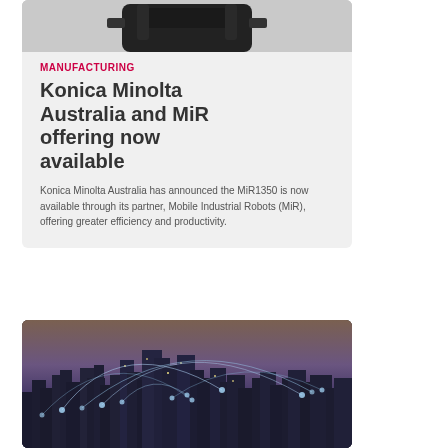[Figure (photo): Dark industrial robot or device photographed from above on a light grey background, partially visible at top of card]
MANUFACTURING
Konica Minolta Australia and MiR offering now available
Konica Minolta Australia has announced the MiR1350 is now available through its partner, Mobile Industrial Robots (MiR), offering greater efficiency and productivity.
[Figure (photo): City skyline at dusk with network connectivity lines and nodes overlaid, representing digital connectivity or smart city technology]